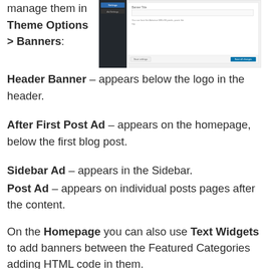manage them in Theme Options > Banners:
[Figure (screenshot): Screenshot of a WordPress Theme Options Banners settings panel with a dark sidebar and banner configuration fields]
Header Banner – appears below the logo in the header.
After First Post Ad – appears on the homepage, below the first blog post.
Sidebar Ad – appears in the Sidebar.
Post Ad – appears on individual posts pages after the content.
On the Homepage you can also use Text Widgets to add banners between the Featured Categories adding HTML code in them.